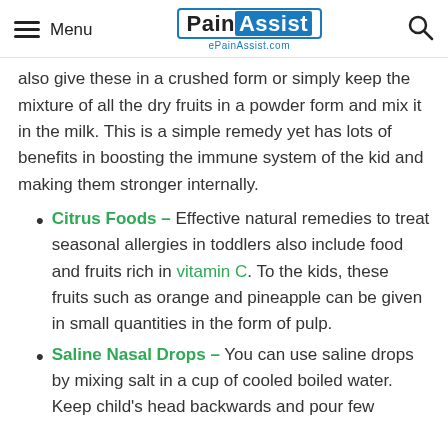Menu | PainAssist ePainAssist.com
also give these in a crushed form or simply keep the mixture of all the dry fruits in a powder form and mix it in the milk. This is a simple remedy yet has lots of benefits in boosting the immune system of the kid and making them stronger internally.
Citrus Foods – Effective natural remedies to treat seasonal allergies in toddlers also include food and fruits rich in vitamin C. To the kids, these fruits such as orange and pineapple can be given in small quantities in the form of pulp.
Saline Nasal Drops – You can use saline drops by mixing salt in a cup of cooled boiled water. Keep child's head backwards and pour few